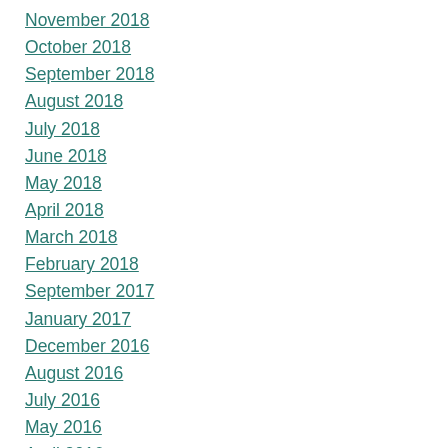November 2018
October 2018
September 2018
August 2018
July 2018
June 2018
May 2018
April 2018
March 2018
February 2018
September 2017
January 2017
December 2016
August 2016
July 2016
May 2016
April 2016
March 2016
February 2016